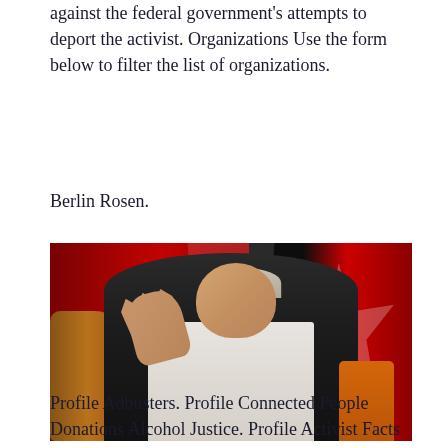against the federal government's attempts to deport the activist. Organizations Use the form below to filter the list of organizations.
Berlin Rosen.
[Figure (photo): A man in a dark suit with grey hair wearing glasses raises his right hand with palm open. Red flags with white maple leaf shapes are visible in the background. An ornate gold object is visible on the left side. An orange chair is partially visible on the right.]
Profile Adbusters. Profile Connected People Donations Alcohol Justice. Profile Activist Facts is committed to accuracy. Feel